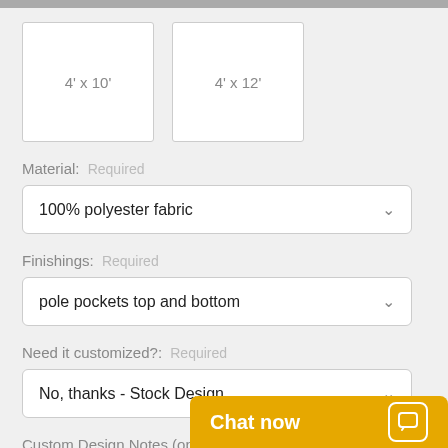[Figure (screenshot): Two size option boxes side by side: '4' x 10'' and '4' x 12'']
Material:  Required
100% polyester fabric
Finishings:  Required
pole pockets top and bottom
Need it customized?:  Required
No, thanks - Stock Design
Custom Design Notes (optional):
Chat now